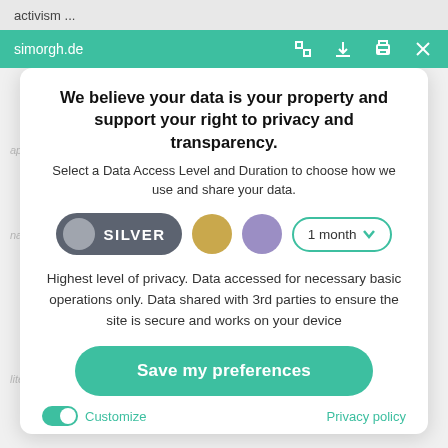activism ...
simorgh.de
We believe your data is your property and support your right to privacy and transparency.
Select a Data Access Level and Duration to choose how we use and share your data.
[Figure (infographic): Data access level selector with Silver toggle button, gold dot, purple dot, and 1 month duration dropdown]
Highest level of privacy. Data accessed for necessary basic operations only. Data shared with 3rd parties to ensure the site is secure and works on your device
Save my preferences
Customize
Privacy policy